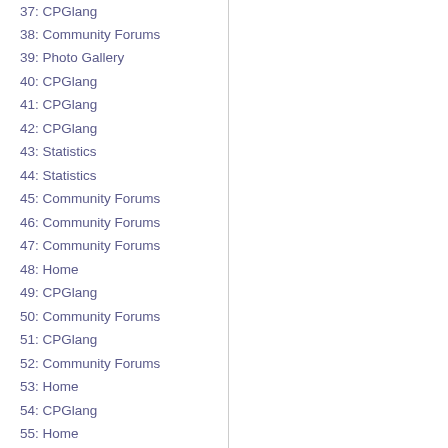37: CPGlang
38: Community Forums
39: Photo Gallery
40: CPGlang
41: CPGlang
42: CPGlang
43: Statistics
44: Statistics
45: Community Forums
46: Community Forums
47: Community Forums
48: Home
49: CPGlang
50: Community Forums
51: CPGlang
52: Community Forums
53: Home
54: CPGlang
55: Home
56: CPGlang
57: Home
58: CPGlang
59: Community Forums
60: Community Forums
61: CPGlang